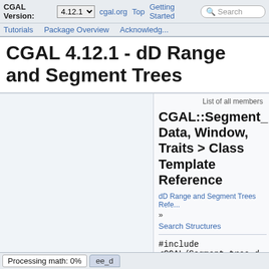CGAL Version: 4.12.1  cgal.org  Top  Getting Started  Tutorials  Package Overview  Acknowledg...  Search
CGAL 4.12.1 - dD Range and Segment Trees
List of all members
CGAL::Segment_ Data, Window, Traits > Class Template Reference
dD Range and Segment Trees Refe...
»
Search Structures
#include <CGAL/Segment_tree_d
Processing math: 0%  ee_d